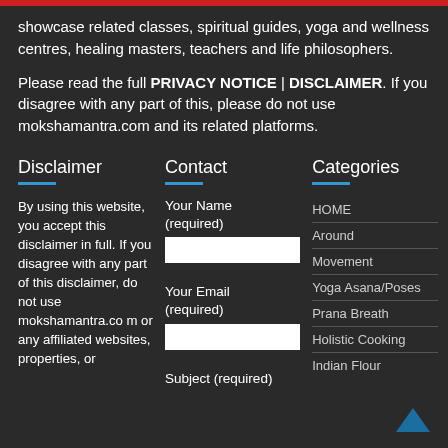showcase related classes, spiritual guides, yoga and wellness centres, healing masters, teachers and life philosophers.
Please read the full PRIVACY NOTICE | DISCLAIMER. If you disagree with any part of this, please do not use mokshamantra.com and its related platforms.
Disclaimer
Contact
Categories
By using this website, you accept this disclaimer in full. If you disagree with any part of this disclaimer, do not use mokshamantra.com or any affiliated websites, properties, or
Your Name (required)
Your Email (required)
Subject (required)
HOME
Around
Movement
Yoga Asana/Poses
Prana Breath
Holistic Cooking
Indian Flour